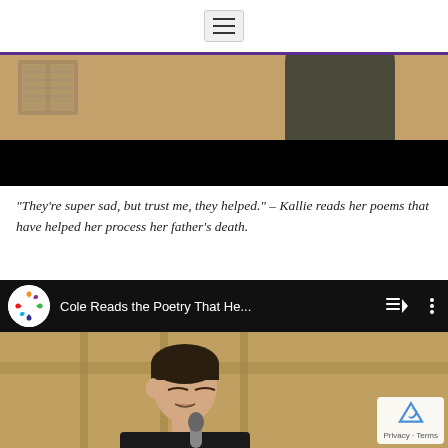[hamburger menu icon]
[Figure (screenshot): Video screenshot showing a person standing in a room, with the lower portion blacked out — appears to be a YouTube video embed (Kallie reads her poems)]
“They’re super sad, but trust me, they helped.” – Kallie reads her poems that have helped her process her father’s death.
[Figure (screenshot): YouTube video embed showing title bar 'Cole Reads the Poetry That He...' with channel logo, playlist and options icons, and video thumbnail of a young man holding a microphone with a reCAPTCHA Privacy-Terms badge in the bottom right corner.]